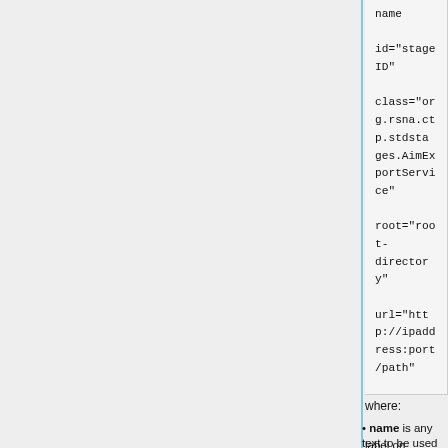name
            id="stage ID"

            class="org.rsna.ctp.stdstages.AimExportService"
            root="root-directory"

            url="http://ipaddress:port/path"

            xmlScript="scripts/xf.script"

            logResponses="no"

            quarantine="quarantine-directory"

            interval="5000" />
where:
name is any text to be used as a label on configuration and status